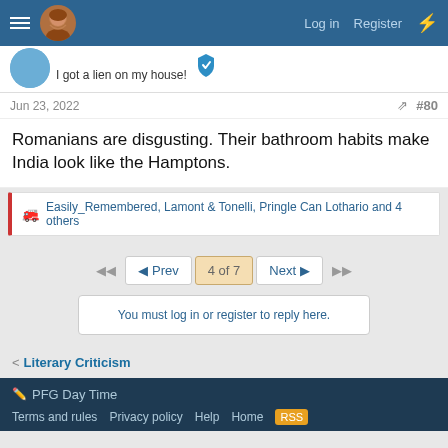Log in  Register
I got a lien on my house!
Jun 23, 2022  #80
Romanians are disgusting. Their bathroom habits make India look like the Hamptons.
Easily_Remembered, Lamont & Tonelli, Pringle Can Lothario and 4 others
◄◄  ◄ Prev  4 of 7  Next ►  ►►
You must log in or register to reply here.
< Literary Criticism
PFG Day Time  Terms and rules  Privacy policy  Help  Home